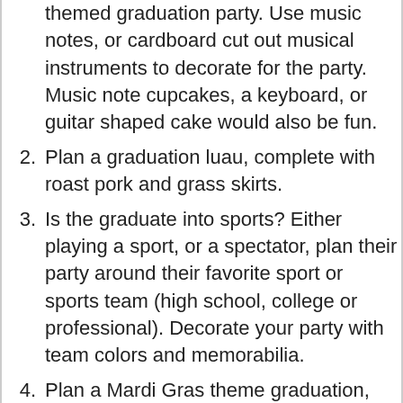themed graduation party. Use music notes, or cardboard cut out musical instruments to decorate for the party. Music note cupcakes, a keyboard, or guitar shaped cake would also be fun.
Plan a graduation luau, complete with roast pork and grass skirts.
Is the graduate into sports? Either playing a sport, or a spectator, plan their party around their favorite sport or sports team (high school, college or professional). Decorate your party with team colors and memorabilia.
Plan a Mardi Gras theme graduation, use the Mardi Gras colors of purple, green, and gold to decorate. Hang brightly colored streamers and and